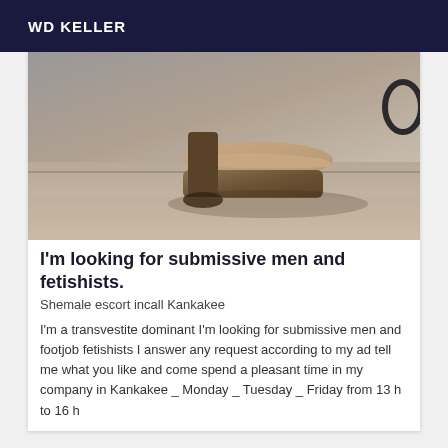WD KELLER
[Figure (photo): Close-up photo of a person's foot wearing a tall platform high heel shoe, standing on a wooden floor surface.]
I'm looking for submissive men and fetishists.
Shemale escort incall Kankakee
I'm a transvestite dominant I'm looking for submissive men and footjob fetishists I answer any request according to my ad tell me what you like and come spend a pleasant time in my company in Kankakee _ Monday _ Tuesday _ Friday from 13 h to 16 h